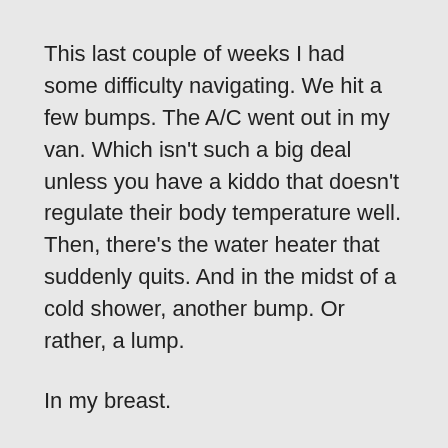This last couple of weeks I had some difficulty navigating. We hit a few bumps. The A/C went out in my van. Which isn't such a big deal unless you have a kiddo that doesn't regulate their body temperature well. Then, there's the water heater that suddenly quits. And in the midst of a cold shower, another bump. Or rather, a lump.
In my breast.
And if any of you have experienced this kind of bump in your road, you may know the kind of road I traveled this week. It took a twist at the ultrasound, after the mammogram, when the radiologist ordered the core needle biopsy. Though I'd been in regular prayer over all our bumps lately, I will admit that the